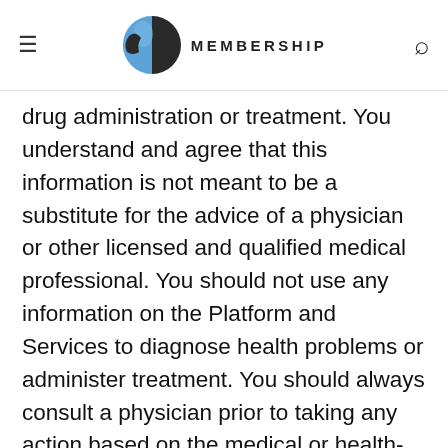MEMBERSHIP
drug administration or treatment. You understand and agree that this information is not meant to be a substitute for the advice of a physician or other licensed and qualified medical professional. You should not use any information on the Platform and Services to diagnose health problems or administer treatment. You should always consult a physician prior to taking any action based on the medical or health-related information found on this Platform. Information on the Platform and Services may refer to drugs, devices or techniques which are subject to government regulation, and it is the responsibility of the treating practitioner to comply with all applicable laws. We do not assume any liability for